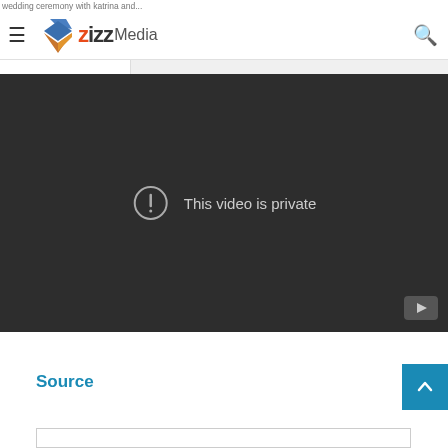wedding ceremony with katrina and...
Zizz Media
[Figure (screenshot): Embedded video player showing 'This video is private' message with an exclamation mark circle icon and a YouTube icon in the bottom right corner. The background is dark grey.]
Source